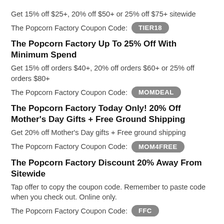Get 15% off $25+, 20% off $50+ or 25% off $75+ sitewide
The Popcorn Factory Coupon Code: TIER18
The Popcorn Factory Up To 25% Off With Minimum Spend
Get 15% off orders $40+, 20% off orders $60+ or 25% off orders $80+
The Popcorn Factory Coupon Code: MOMDEAL
The Popcorn Factory Today Only! 20% Off Mother's Day Gifts + Free Ground Shipping
Get 20% off Mother's Day gifts + Free ground shipping
The Popcorn Factory Coupon Code: MOM4FREE
The Popcorn Factory Discount 20% Away From Sitewide
Tap offer to copy the coupon code. Remember to paste code when you check out. Online only.
The Popcorn Factory Coupon Code: FFC